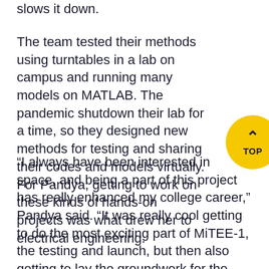slows it down.
The team tested their methods using turntables in a lab on campus and running many models on MATLAB. The pandemic shutdown their lab for a time, so they designed new methods for testing and sharing their codes and models virtually. For Pandya, getting to work on these kinds of hands-on projects was what drew her to electrical engineering.
“I always have been interested in space, and being a part of this project has really enhanced my college career,” Pandya said. “It was really cool getting to do the most exciting part of MiTEE-1, the testing and launch, but then also getting to lay the groundwork for the next generation and MiTEE-2.”